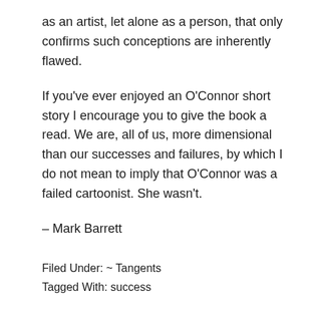as an artist, let alone as a person, that only confirms such conceptions are inherently flawed.
If you've ever enjoyed an O'Connor short story I encourage you to give the book a read. We are, all of us, more dimensional than our successes and failures, by which I do not mean to imply that O'Connor was a failed cartoonist. She wasn't.
— Mark Barrett
Filed Under: ~ Tangents
Tagged With: success